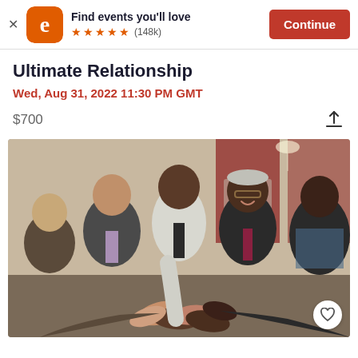Find events you'll love ★★★★★ (148k) Continue
Ultimate Relationship
Wed, Aug 31, 2022 11:30 PM GMT
$700
[Figure (photo): Group of diverse people putting their hands together in a team huddle, smiling and collaborating, in an indoor setting with red curtains in the background.]